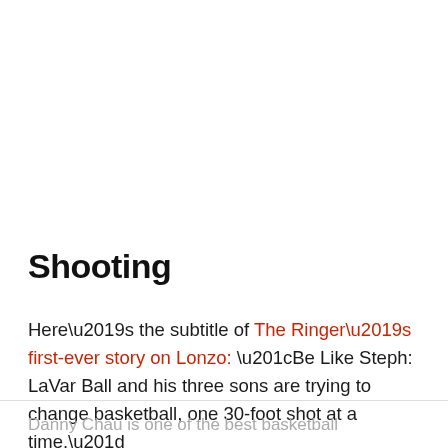Shooting
Here’s the subtitle of The Ringer’s first-ever story on Lonzo: “Be Like Steph: LaVar Ball and his three sons are trying to change basketball, one 30-foot shot at a time.”
Danny Chau is one of the best basketball